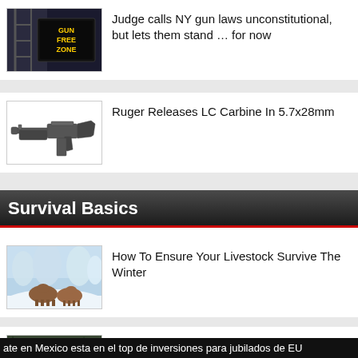[Figure (photo): Gun Free Zone LED sign on a metal scaffold structure at night]
Judge calls NY gun laws unconstitutional, but lets them stand … for now
[Figure (photo): Ruger LC Carbine firearm on white background]
Ruger Releases LC Carbine In 5.7x28mm
Survival Basics
[Figure (photo): Cows resting in snowy winter landscape with trees]
How To Ensure Your Livestock Survive The Winter
[Figure (photo): Outdoor survival scene]
12 “Cool Ways” To Survive Off-Grid Without
ate en Mexico esta en el top de inversiones para jubilados de EU